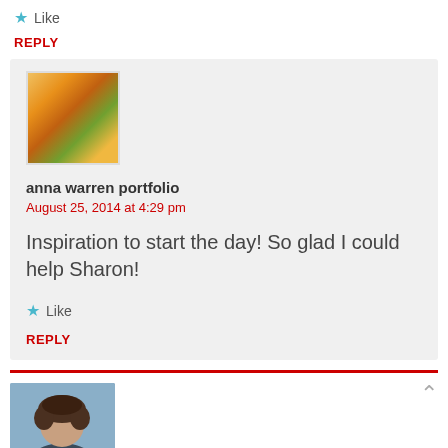★ Like
REPLY
[Figure (photo): Thumbnail photo of fruits (peaches/oranges) used as commenter avatar for anna warren portfolio]
anna warren portfolio
August 25, 2014 at 4:29 pm
Inspiration to start the day! So glad I could help Sharon!
★ Like
REPLY
[Figure (photo): Thumbnail photo of a person (man with curly hair) used as commenter avatar at bottom of page]